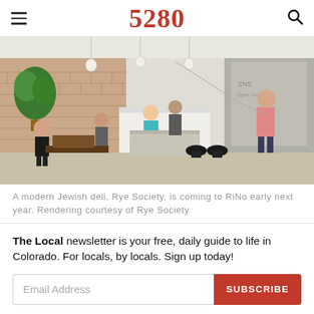5280
[Figure (photo): Interior rendering of a modern Jewish deli called Rye Society, showing people at counters, pendant lights, brick walls, and modern furniture.]
A modern Jewish deli, Rye Society, is coming to RiNo early next year. Rendering courtesy of Rye Society
The Local newsletter is your free, daily guide to life in Colorado. For locals, by locals. Sign up today!